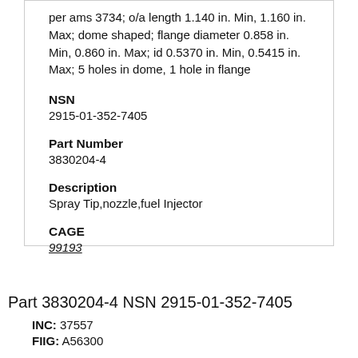per ams 3734; o/a length 1.140 in. Min, 1.160 in. Max; dome shaped; flange diameter 0.858 in. Min, 0.860 in. Max; id 0.5370 in. Min, 0.5415 in. Max; 5 holes in dome, 1 hole in flange
NSN
2915-01-352-7405
Part Number
3830204-4
Description
Spray Tip,nozzle,fuel Injector
CAGE
99193
Part 3830204-4 NSN 2915-01-352-7405
INC: 37557
FIIG: A56300